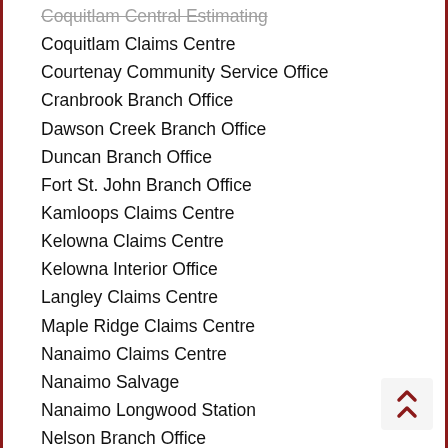Coquitlam Central Estimating
Coquitlam Claims Centre
Courtenay Community Service Office
Cranbrook Branch Office
Dawson Creek Branch Office
Duncan Branch Office
Fort St. John Branch Office
Kamloops Claims Centre
Kelowna Claims Centre
Kelowna Interior Office
Langley Claims Centre
Maple Ridge Claims Centre
Nanaimo Claims Centre
Nanaimo Salvage
Nanaimo Longwood Station
Nelson Branch Office
New Westminster Claims Centre
Penticton Branch Office
Port Alberni Branch Office
Powell River Branch Office
Prince George Claims Centre
Prince George Salvage
Prince Rupert Branch Office